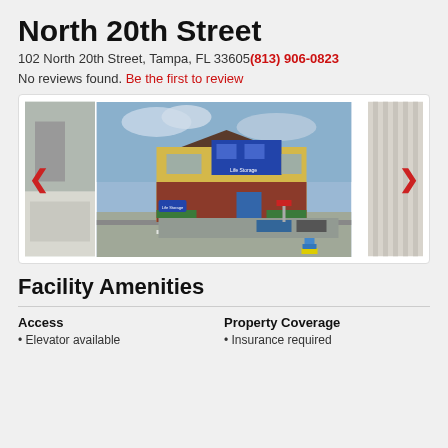North 20th Street
102 North 20th Street, Tampa, FL 33605(813) 906-0823
No reviews found. Be the first to review
[Figure (photo): Exterior photo of a Life Storage facility building at North 20th Street, Tampa, FL. Yellow and red brick building with blue signage and a parking lot. A fire hydrant is visible in the foreground.]
Facility Amenities
Access
• Elevator available
Property Coverage
• Insurance required